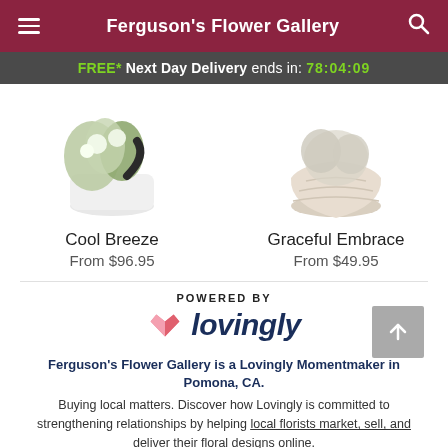Ferguson's Flower Gallery
FREE* Next Day Delivery ends in: 78:04:09
[Figure (photo): Photo of Cool Breeze floral arrangement in white pot with green flowers and dark ribbon]
Cool Breeze
From $96.95
[Figure (photo): Photo of Graceful Embrace arrangement in a cream textured pot]
Graceful Embrace
From $49.95
[Figure (logo): POWERED BY lovingly logo with pink heart icon]
Ferguson's Flower Gallery is a Lovingly Momentmaker in Pomona, CA.
Buying local matters. Discover how Lovingly is committed to strengthening relationships by helping local florists market, sell, and deliver their floral designs online.